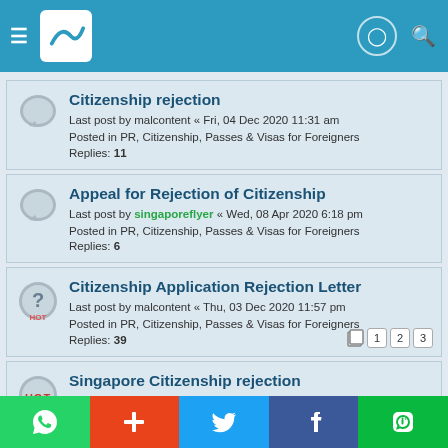Navigation bar with menu, logo, user icon, and search icon
Citizenship rejection
Last post by malcontent « Fri, 04 Dec 2020 11:31 am
Posted in PR, Citizenship, Passes & Visas for Foreigners
Replies: 11
Appeal for Rejection of Citizenship
Last post by singaporeflyer « Wed, 08 Apr 2020 6:18 pm
Posted in PR, Citizenship, Passes & Visas for Foreigners
Replies: 6
Citizenship Application Rejection Letter
Last post by malcontent « Thu, 03 Dec 2020 11:57 pm
Posted in PR, Citizenship, Passes & Visas for Foreigners
Replies: 39
Singapore Citizenship rejection
Last post by malcontent « Sat, 27 Aug 2022 8:40 pm
Posted in PR, Citizenship, Passes & Visas for Foreigners
Replies: 49
Social share buttons: WhatsApp, Add, Twitter, Facebook, WeChat